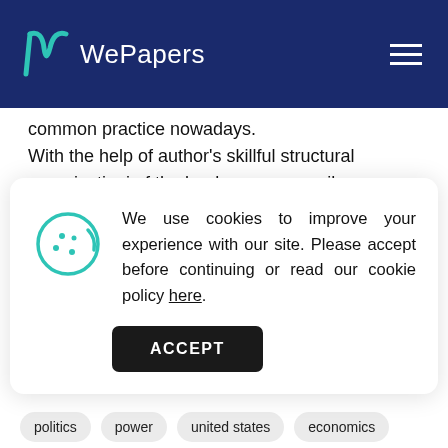WePapers
common practice nowadays.
With the help of author's skillful structural organizationi of the book one can easily understand the content of it.
[Figure (other): Cookie consent modal with cookie icon, text explaining cookies usage, a link 'here', and an ACCEPT button]
domination and it seems to me that its government is not going to stop.
politics
power
united states
economics